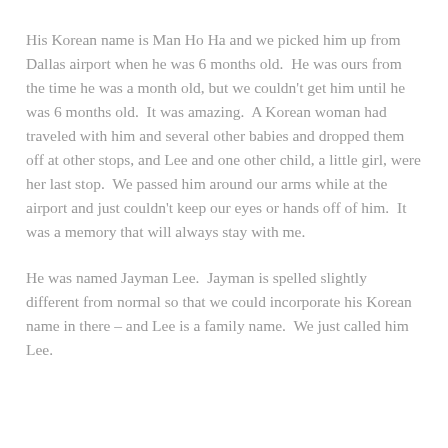His Korean name is Man Ho Ha and we picked him up from Dallas airport when he was 6 months old.  He was ours from the time he was a month old, but we couldn't get him until he was 6 months old.  It was amazing.  A Korean woman had traveled with him and several other babies and dropped them off at other stops, and Lee and one other child, a little girl, were her last stop.  We passed him around our arms while at the airport and just couldn't keep our eyes or hands off of him.  It was a memory that will always stay with me.
He was named Jayman Lee.  Jayman is spelled slightly different from normal so that we could incorporate his Korean name in there – and Lee is a family name.  We just called him Lee.